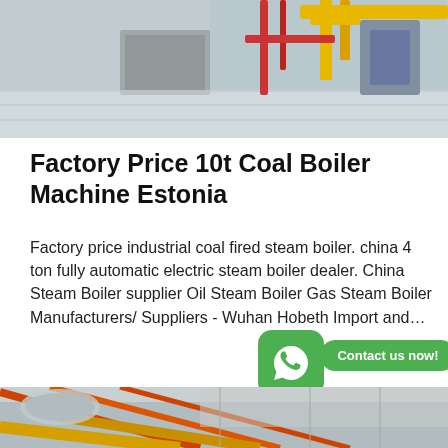[Figure (photo): Industrial boiler room with metal pipes and machinery, yellow and red piping visible]
Factory Price 10t Coal Boiler Machine Estonia
Factory price industrial coal fired steam boiler. china 4 ton fully automatic electric steam boiler dealer. China Steam Boiler supplier Oil Steam Boiler Gas Steam Boiler Manufacturers/ Suppliers - Wuhan Hobeth Import and…
[Figure (other): Get Price button - blue rounded rectangle button]
[Figure (other): WhatsApp icon - green rounded square with phone handset]
[Figure (other): Contact us now! - green rounded bubble text]
[Figure (photo): Industrial facility interior showing overhead pipes, orange and yellow structural elements, ceiling infrastructure]